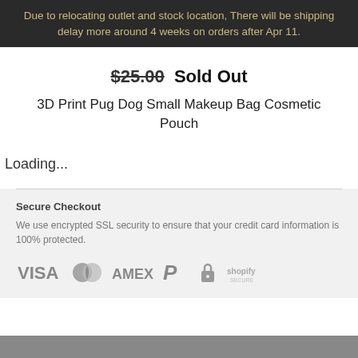Due to relocating outlet and stock location, There will be shipping delay more around 4 weeks on orders after Apr 11.
$25.00 Sold Out
3D Print Pug Dog Small Makeup Bag Cosmetic Pouch
Loading...
Secure Checkout
We use encrypted SSL security to ensure that your credit card information is 100% protected.
[Figure (other): Payment method icons: VISA, Mastercard, AMEX, PayPal, Shopify Secure]